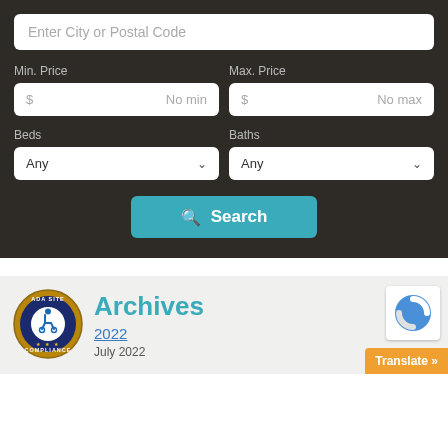[Figure (screenshot): Real estate search form with dark background. Contains: Enter City or Postal Code input, Min Price / Max Price fields, Beds / Baths dropdowns, and a teal Search button.]
[Figure (logo): ADA Site Compliance circular badge with wheelchair accessibility icon in blue and gold.]
Archives
2022
July 2022